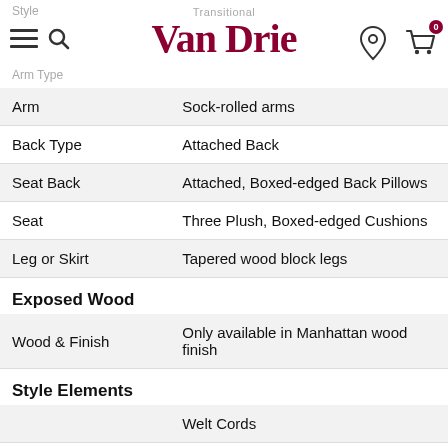Style: Transitional | Van Drie | Arm Type
| Attribute | Value |
| --- | --- |
| Arm | Sock-rolled arms |
| Back Type | Attached Back |
| Seat Back | Attached, Boxed-edged Back Pillows |
| Seat | Three Plush, Boxed-edged Cushions |
| Leg or Skirt | Tapered wood block legs |
| Exposed Wood |  |
| Wood & Finish | Only available in Manhattan wood finish |
| Style Elements |  |
|  | Welt Cords |
|  | Optional Cushions |
|  | Attached Back |
|  | Exposed Wood Leg |